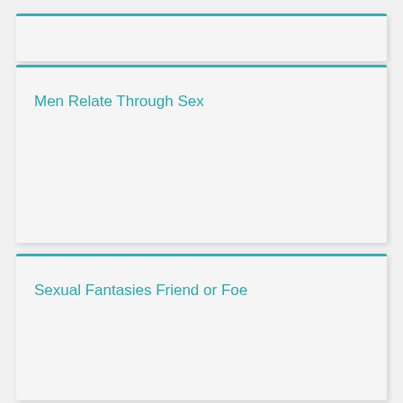Men Relate Through Sex
Sexual Fantasies Friend or Foe